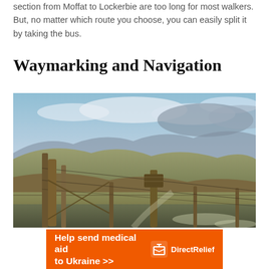section from Moffat to Lockerbie are too long for most walkers. But, no matter which route you choose, you can easily split it by taking the bus.
Waymarking and Navigation
[Figure (photo): Landscape photo of Scottish hills and moorland with wooden fence posts and a gate in the foreground, rolling hills and mountains under a cloudy sky in the background, frost on the grass.]
[Figure (infographic): Orange advertisement banner reading 'Help send medical aid to Ukraine >>' with Direct Relief logo on the right.]